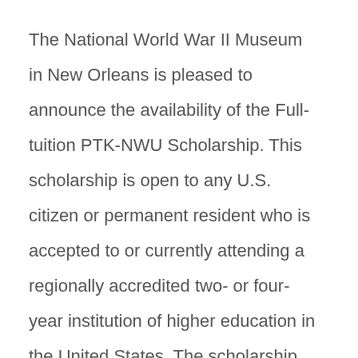The National World War II Museum in New Orleans is pleased to announce the availability of the Full-tuition PTK-NWU Scholarship. This scholarship is open to any U.S. citizen or permanent resident who is accepted to or currently attending a regionally accredited two- or four-year institution of higher education in the United States. The scholarship will cover the cost of tuition for up to four years of